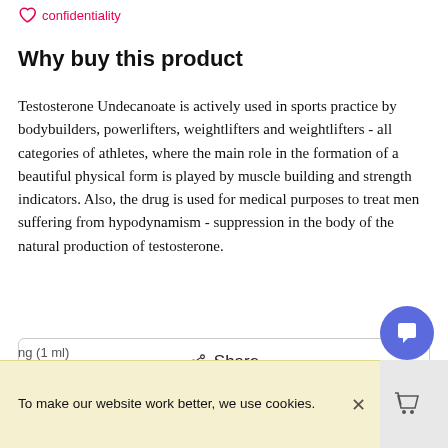confidentiality
Why buy this product
Testosterone Undecanoate is actively used in sports practice by bodybuilders, powerlifters, weightlifters and weightlifters - all categories of athletes, where the main role in the formation of a beautiful physical form is played by muscle building and strength indicators. Also, the drug is used for medical purposes to treat men suffering from hypodynamism - suppression in the body of the natural production of testosterone.
[Figure (other): Share button with share icon]
[Figure (other): Blue circular chat/support button]
To make our website work better, we use cookies.